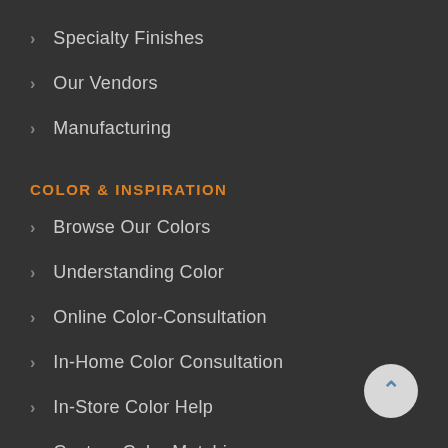Specialty Finishes
Our Vendors
Manufacturing
COLOR & INSPIRATION
Browse Our Colors
Understanding Color
Online Color-Consultation
In-Home Color Consultation
In-Store Color Help
Custom Color Matching